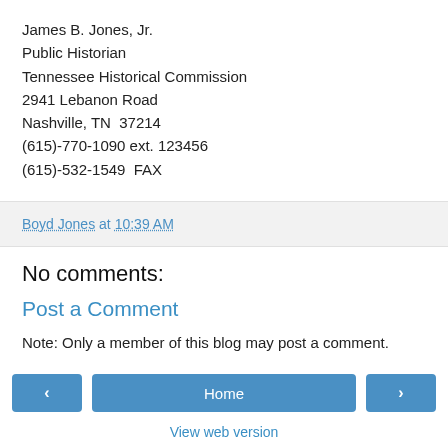James B. Jones, Jr.
Public Historian
Tennessee Historical Commission
2941 Lebanon Road
Nashville, TN  37214
(615)-770-1090 ext. 123456
(615)-532-1549  FAX
Boyd Jones at 10:39 AM
No comments:
Post a Comment
Note: Only a member of this blog may post a comment.
‹  Home  ›
View web version